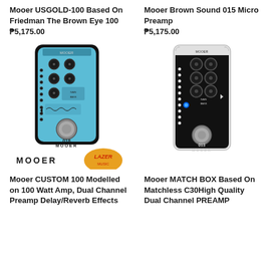Mooer USGOLD-100 Based On Friedman The Brown Eye 100
₱5,175.00
Mooer Brown Sound 015 Micro Preamp
₱5,175.00
[Figure (photo): Blue Mooer 018 micro preamp pedal with knobs and footswitch, with Mooer and Lazer Music logos below]
[Figure (photo): Black Mooer 013 micro preamp pedal with knobs, blue LED indicator and footswitch]
Mooer CUSTOM 100 Modelled on 100 Watt Amp, Dual Channel Preamp Delay/Reverb Effects
Mooer MATCH BOX Based On Matchless C30High Quality Dual Channel PREAMP